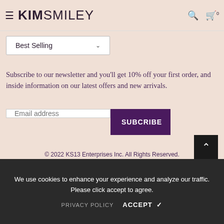KIM SMILEY
Best Selling
Subscribe to our newsletter and you'll get 10% off your first order, and inside information on our latest offers and new arrivals.
Email address
SUBCRIBE
© 2022 KS13 Enterprises Inc. All Rights Reserved.
We use cookies to enhance your experience and analyze our traffic. Please click accept to agree.
PRIVACY POLICY   ACCEPT ✔